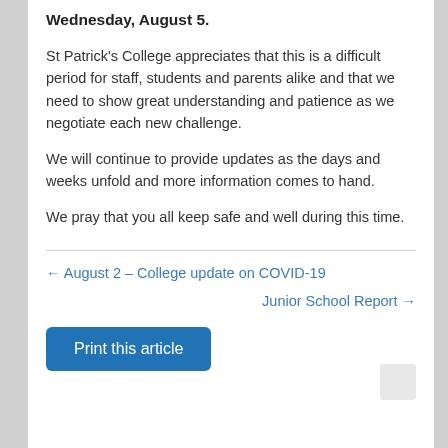Wednesday, August 5.
St Patrick's College appreciates that this is a difficult period for staff, students and parents alike and that we need to show great understanding and patience as we negotiate each new challenge.
We will continue to provide updates as the days and weeks unfold and more information comes to hand.
We pray that you all keep safe and well during this time.
← August 2 – College update on COVID-19
Junior School Report →
Print this article